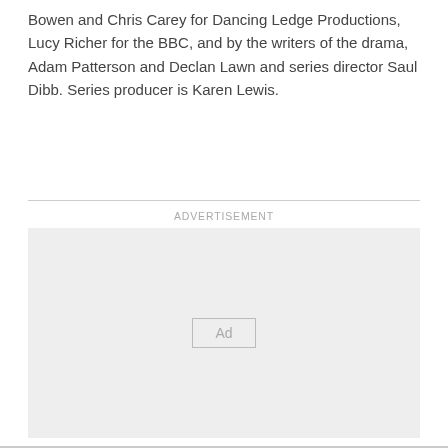Bowen and Chris Carey for Dancing Ledge Productions, Lucy Richer for the BBC, and by the writers of the drama, Adam Patterson and Declan Lawn and series director Saul Dibb. Series producer is Karen Lewis.
ADVERTISEMENT
[Figure (other): Advertisement placeholder box with 'Ad' label centered inside a light gray rectangle]